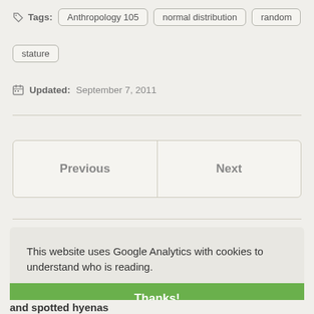Tags: Anthropology 105  normal distribution  random  stature
Updated: September 7, 2011
| Previous | Next |
| --- | --- |
This website uses Google Analytics with cookies to understand who is reading.
Privacy policy
Thanks!
and spotted hyenas